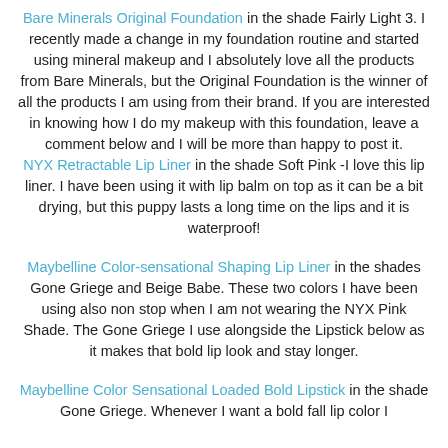Bare Minerals Original Foundation in the shade Fairly Light 3. I recently made a change in my foundation routine and started using mineral makeup and I absolutely love all the products from Bare Minerals, but the Original Foundation is the winner of all the products I am using from their brand. If you are interested in knowing how I do my makeup with this foundation, leave a comment below and I will be more than happy to post it.
NYX Retractable Lip Liner in the shade Soft Pink -I love this lip liner. I have been using it with lip balm on top as it can be a bit drying, but this puppy lasts a long time on the lips and it is waterproof!
Maybelline Color-sensational Shaping Lip Liner in the shades Gone Griege and Beige Babe. These two colors I have been using also non stop when I am not wearing the NYX Pink Shade. The Gone Griege I use alongside the Lipstick below as it makes that bold lip look and stay longer.
Maybelline Color Sensational Loaded Bold Lipstick in the shade Gone Griege. Whenever I want a bold fall lip color I